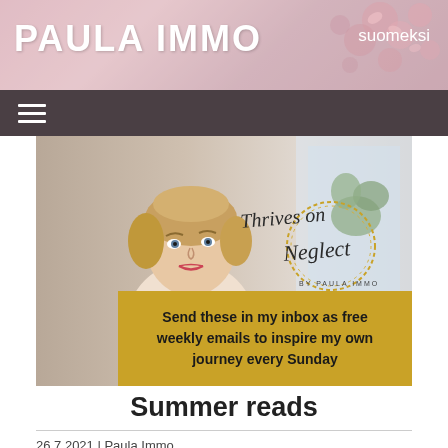PAULA IMMO
suomeksi
[Figure (photo): Website screenshot of Paula Immo blog. Header shows 'PAULA IMMO' logo on cherry blossom background with 'suomeksi' link. Navigation bar with hamburger menu. Hero image shows a woman with short blonde hair and a floral shirt beside the 'Thrives on Neglect by Paula Immo' brand logo with gold circle decoration. Gold CTA banner reads 'Send these in my inbox as free weekly emails to inspire my own journey every Sunday'.]
Summer reads
26.7.2021 | Paula Immo